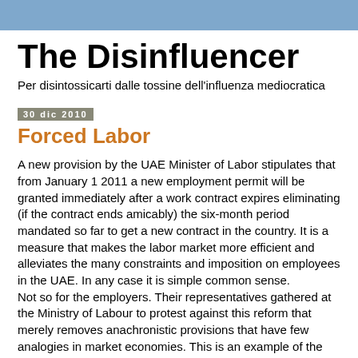The Disinfluencer
Per disintossicarti dalle tossine dell'influenza mediocratica
30 dic 2010
Forced Labor
A new provision by the UAE Minister of Labor stipulates that from January 1 2011 a new employment permit will be granted immediately after a work contract expires eliminating (if the contract ends amicably) the six-month period mandated so far to get a new contract in the country. It is a measure that makes the labor market more efficient and alleviates the many constraints and imposition on employees in the UAE. In any case it is simple common sense.
Not so for the employers. Their representatives gathered at the Ministry of Labour to protest against this reform that merely removes anachronistic provisions that have few analogies in market economies. This is an example of the